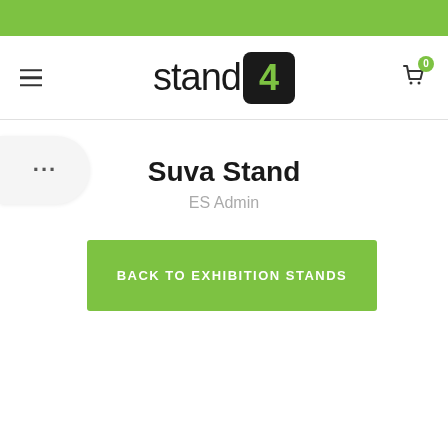[Figure (logo): Stand4 logo with green bar at top, hamburger menu on left, shopping cart icon with badge '0' on right]
Suva Stand
ES Admin
BACK TO EXHIBITION STANDS